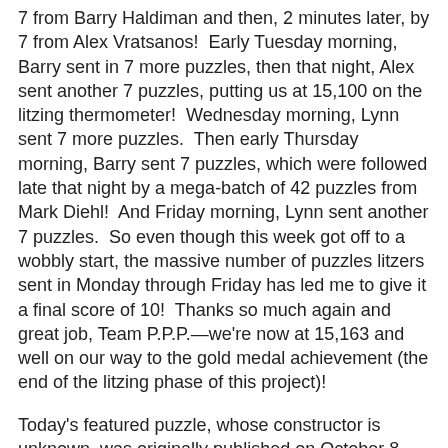7 from Barry Haldiman and then, 2 minutes later, by 7 from Alex Vratsanos!  Early Tuesday morning, Barry sent in 7 more puzzles, then that night, Alex sent another 7 puzzles, putting us at 15,100 on the litzing thermometer!  Wednesday morning, Lynn sent 7 more puzzles.  Then early Thursday morning, Barry sent 7 puzzles, which were followed late that night by a mega-batch of 42 puzzles from Mark Diehl!  And Friday morning, Lynn sent another 7 puzzles.  So even though this week got off to a wobbly start, the massive number of puzzles litzers sent in Monday through Friday has led me to give it a final score of 10!  Thanks so much again and great job, Team P.P.P.—we're now at 15,163 and well on our way to the gold medal achievement (the end of the litzing phase of this project)!
Today's featured puzzle, whose constructor is unknown, was originally published on October 8, 1966; edited by Margaret Farrar; and litzed by Martin Herbach.  This imaginative, forward-thinking crossword utilizes a trick I've never seen in any other puzzle, pre-Shortzian or Shortz era:  the use of two unrelated themes, one based on grid entries and the other contained within the clues!  The puzzle's main theme